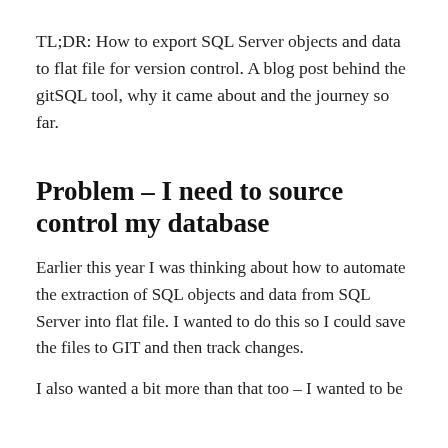TL;DR: How to export SQL Server objects and data to flat file for version control. A blog post behind the gitSQL tool, why it came about and the journey so far.
Problem – I need to source control my database
Earlier this year I was thinking about how to automate the extraction of SQL objects and data from SQL Server into flat file. I wanted to do this so I could save the files to GIT and then track changes.
I also wanted a bit more than that too – I wanted to be